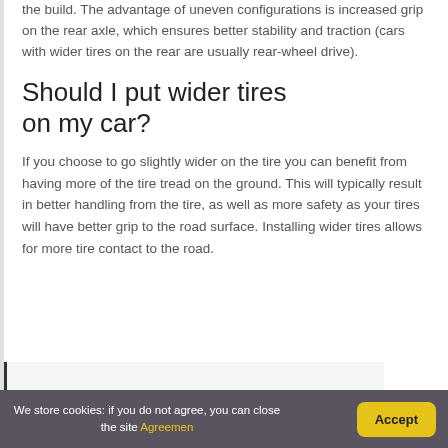the build. The advantage of uneven configurations is increased grip on the rear axle, which ensures better stability and traction (cars with wider tires on the rear are usually rear-wheel drive).
Should I put wider tires on my car?
If you choose to go slightly wider on the tire you can benefit from having more of the tire tread on the ground. This will typically result in better handling from the tire, as well as more safety as your tires will have better grip to the road surface. Installing wider tires allows for more tire contact to the road.
(blockquote area partially visible)
We store cookies: if you do not agree, you can close the site Agreemen   Accept